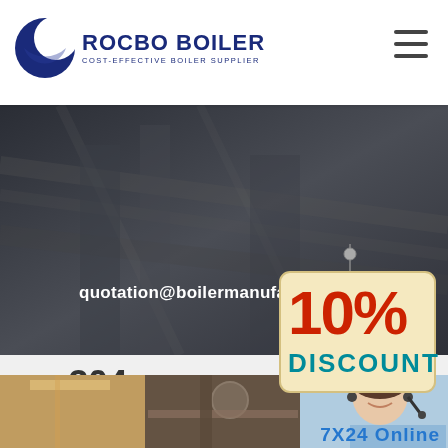[Figure (logo): Rocbo Boiler logo with crescent moon graphic and text 'ROCBO BOILER - COST-EFFECTIVE BOILER SUPPLIER' in dark blue]
[Figure (illustration): Hamburger menu icon (three horizontal lines) in the top right corner of the header]
[Figure (photo): Dark gray industrial background hero banner]
quotation@boilermanufactory.com
[Figure (infographic): 10% DISCOUNT badge - cream colored tag with red '10%' text and teal 'DISCOUNT' text, hanging from a string with a pin/nail]
ss 304 vacuum
[Figure (photo): Photo strip showing industrial boiler facility interiors and a customer service representative with headset smiling]
7X24 Online